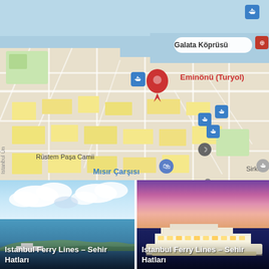[Figure (map): Google Maps view of Eminönü district in Istanbul, Turkey. Shows landmarks including Galata Köprüsü, Eminönü (Turyol) ferry stop, Rüstem Paşa Camii, Mısır Çarşısı, Eminönü Meydanı, Büyük Valide Han, Marmaray Sirkeci İstasyonu, HOCAPAŞ, and Topkapı. Blue water areas (Bosphorus/Golden Horn) visible at top. Street network with yellow building blocks. Various map pins and icons.]
[Figure (photo): Istanbul Ferry Lines – Sehir Hatları. Photo showing Istanbul waterway with greenery, buildings, and clouds in a daytime scene.]
[Figure (photo): Istanbul Ferry Lines – Sehir Hatları. Photo showing a Sehir Hatları ferry at sunset/dusk with purple/pink sky and water reflections.]
Istanbul Ferry Lines – Sehir Hatları
Istanbul Ferry Lines – Sehir Hatları